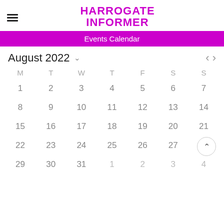HARROGATE INFORMER
Events Calendar
August 2022
| M | T | W | T | F | S | S |
| --- | --- | --- | --- | --- | --- | --- |
| 1 | 2 | 3 | 4 | 5 | 6 | 7 |
| 8 | 9 | 10 | 11 | 12 | 13 | 14 |
| 15 | 16 | 17 | 18 | 19 | 20 | 21 |
| 22 | 23 | 24 | 25 | 26 | 27 | 28 |
| 29 | 30 | 31 | 1 | 2 | 3 | 4 |